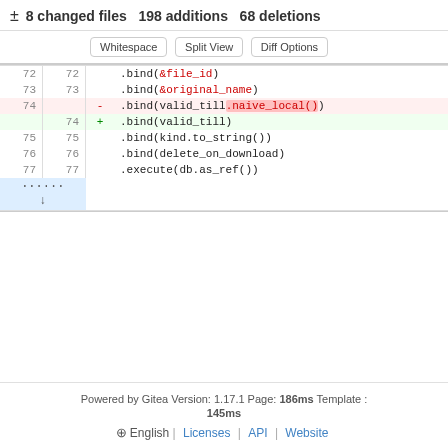± 8 changed files  198 additions  68 deletions
Whitespace  Split View  Diff Options
| old | new | sign | code |
| --- | --- | --- | --- |
| 72 | 72 |  | .bind(&file_id) |
| 73 | 73 |  | .bind(&original_name) |
| 74 |  | - | .bind(valid_till.naive_local()) |
|  | 74 | + | .bind(valid_till) |
| 75 | 75 |  | .bind(kind.to_string()) |
| 76 | 76 |  | .bind(delete_on_download) |
| 77 | 77 |  | .execute(db.as_ref()) |
Powered by Gitea Version: 1.17.1 Page: 186ms Template : 145ms
⊕ English | Licenses | API | Website